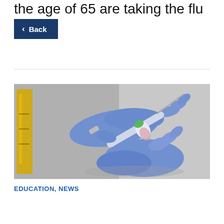the age of 65 are taking the flu
Back
[Figure (photo): Two gloved hands (blue latex gloves) holding a syringe and a small vaccine vial, with a yellow test tube in the background, in a clinical setting.]
EDUCATION, NEWS